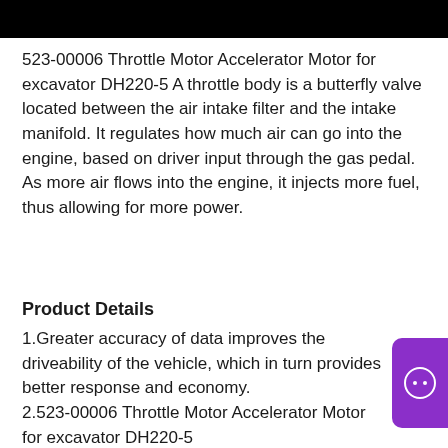523-00006 Throttle Motor Accelerator Motor for excavator DH220-5 A throttle body is a butterfly valve located between the air intake filter and the intake manifold. It regulates how much air can go into the engine, based on driver input through the gas pedal. As more air flows into the engine, it injects more fuel, thus allowing for more power.
Product Details
1.Greater accuracy of data improves the driveability of the vehicle, which in turn provides better response and economy.
2.523-00006 Throttle Motor Accelerator Motor for excavator DH220-5